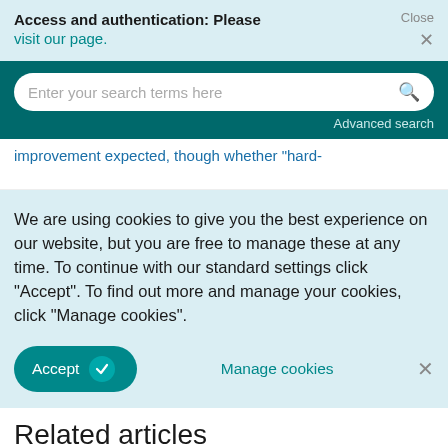Access and authentication: Please visit our page. Close ×
Enter your search terms here Advanced search
improvement expected, though whether "hard-
We are using cookies to give you the best experience on our website, but you are free to manage these at any time. To continue with our standard settings click "Accept". To find out more and manage your cookies, click "Manage cookies".
Accept  Manage cookies ×
Related articles